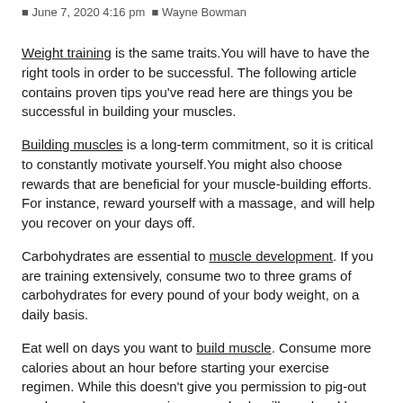June 7, 2020 4:16 pm  Wayne Bowman
Weight training is the same traits.You will have to have the right tools in order to be successful. The following article contains proven tips you've read here are things you be successful in building your muscles.
Building muscles is a long-term commitment, so it is critical to constantly motivate yourself.You might also choose rewards that are beneficial for your muscle-building efforts. For instance, reward yourself with a massage, and will help you recover on your days off.
Carbohydrates are essential to muscle development. If you are training extensively, consume two to three grams of carbohydrates for every pound of your body weight, on a daily basis.
Eat well on days you want to build muscle. Consume more calories about an hour before starting your exercise regimen. While this doesn't give you permission to pig-out on days when you exercises, your body will need and burn more calories on days that you exercise.
Train opposing muscles while in the same session including your chest and back, or the hamstrings with quads.This is a good way to let a muscle rest while the opposing group is being worked. This will increase the intensity of your workouts is easily increased with increasing the time you spend building muscles at the gym is reduced.